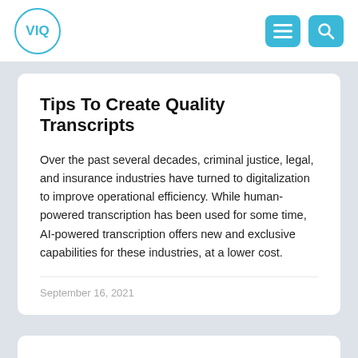VIQ
Tips To Create Quality Transcripts
Over the past several decades, criminal justice, legal, and insurance industries have turned to digitalization to improve operational efficiency. While human-powered transcription has been used for some time, AI-powered transcription offers new and exclusive capabilities for these industries, at a lower cost.
September 16, 2021